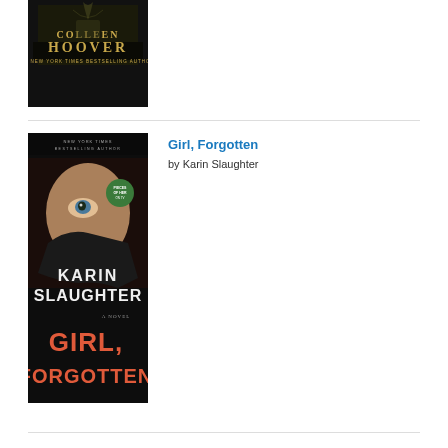[Figure (photo): Book cover of Colleen Hoover novel with dark background and golden author name text, partially visible at top of page]
[Figure (photo): Book cover of 'Girl, Forgotten' by Karin Slaughter, showing a woman's face partially obscured by shadow, with orange/red title text at bottom and author name in white]
Girl, Forgotten
by Karin Slaughter